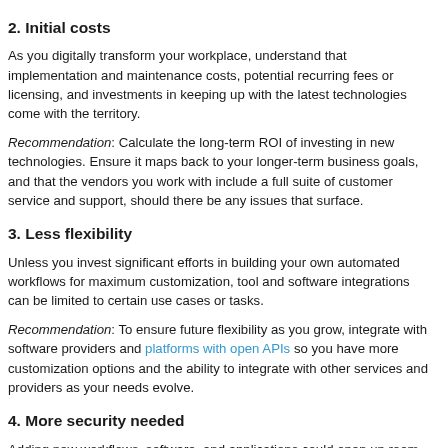2. Initial costs
As you digitally transform your workplace, understand that implementation and maintenance costs, potential recurring fees or licensing, and investments in keeping up with the latest technologies come with the territory.
Recommendation: Calculate the long-term ROI of investing in new technologies. Ensure it maps back to your longer-term business goals, and that the vendors you work with include a full suite of customer service and support, should there be any issues that surface.
3. Less flexibility
Unless you invest significant efforts in building your own automated workflows for maximum customization, tool and software integrations can be limited to certain use cases or tasks.
Recommendation: To ensure future flexibility as you grow, integrate with software providers and platforms with open APIs so you have more customization options and the ability to integrate with other services and providers as your needs evolve.
4. More security needed
Adding new workflows, software, and applications could open up room for potential vulnerabilities in your business networks. Particularly as cybersecurity